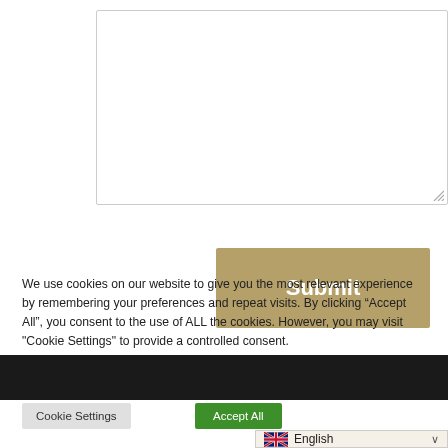[Figure (screenshot): Empty white textarea input box with resize handle at bottom-right corner]
Submit
[Figure (screenshot): Dark/black horizontal navigation or divider bar]
We use cookies on our website to give you the most relevant experience by remembering your preferences and repeat visits. By clicking “Accept All”, you consent to the use of ALL the cookies. However, you may visit "Cookie Settings" to provide a controlled consent.
Cookie Settings
Accept All
English